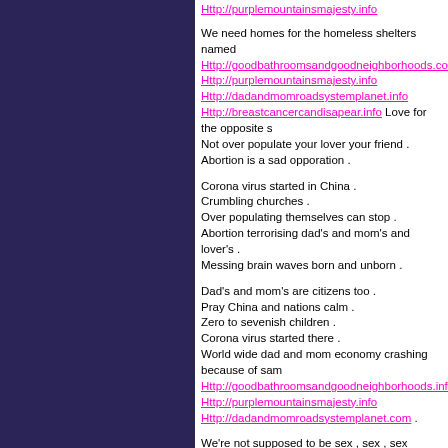Http://purplemountainsmajesty.info
We need homes for the homeless shelters named Http://goodbathroomsandgoodneighborhoods.com Http://purplemountainsmajesty.info Http://dadandmomroadsystemplanet.info Http://breastcancercandisapear.info Love for the opposite s Not over populate your lover your friend . Abortion is a sad opporation .
Corona virus started in China . Crumbling churches . Over populating themselves can stop . Abortion terrorising dad's and mom's and lover's . Messing brain waves born and unborn .
Dad's and mom's are citizens too . Pray China and nations calm . Zero to sevenish children . Corona virus started there . World wide dad and mom economy crashing because of sam Http://goodbathroomsandgoodneighborhoods.info Http://purplemountainsmajesty.info Http://dadandmomroadsystemplanet.com .
We're not supposed to be sex , sex , sex abortion , over popu nood's .